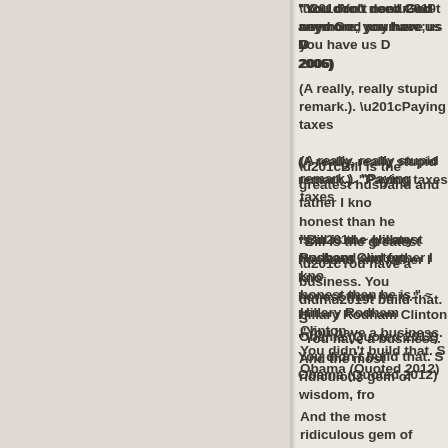“You don’t need God anymore; you have us Democrats.” (Quoted 2006)
(A really, really stupid remark.). “Paying taxes
“Bill is the greatest husband and father I know. No one is more honest than he is.” ~ Hillary Rodham Clinton
“You have a business. You didn’t build that. S Obama (Quoted 2012)
And the most ridiculous gem of wisdom, from “We just have to pass the Healthcare Bill to se (Quoted March, 2010)…As one Doctor was he definition of a stool sample.”)
Beyond a doubt, the greatest statement of all Speaker Sam Rayburn at the first Congressio caught, on camera, having sex with one of his